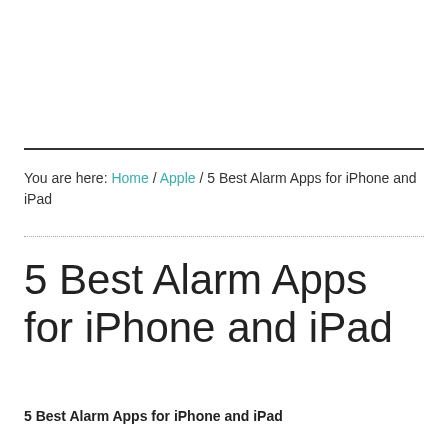You are here: Home / Apple / 5 Best Alarm Apps for iPhone and iPad
5 Best Alarm Apps for iPhone and iPad
5 Best Alarm Apps for iPhone and iPad